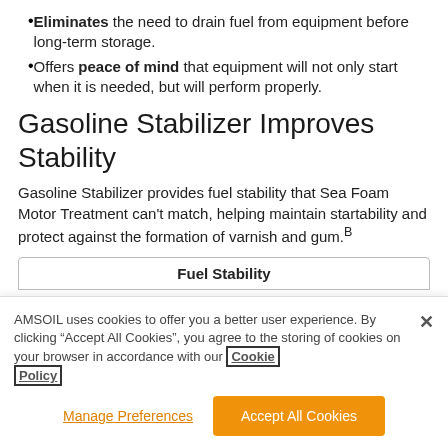Eliminates the need to drain fuel from equipment before long-term storage.
Offers peace of mind that equipment will not only start when it is needed, but will perform properly.
Gasoline Stabilizer Improves Stability
Gasoline Stabilizer provides fuel stability that Sea Foam Motor Treatment can't match, helping maintain startability and protect against the formation of varnish and gum.B
| Fuel Stability |
| --- |
AMSOIL uses cookies to offer you a better user experience. By clicking “Accept All Cookies”, you agree to the storing of cookies on your browser in accordance with our Cookie Policy
Manage Preferences
Accept All Cookies